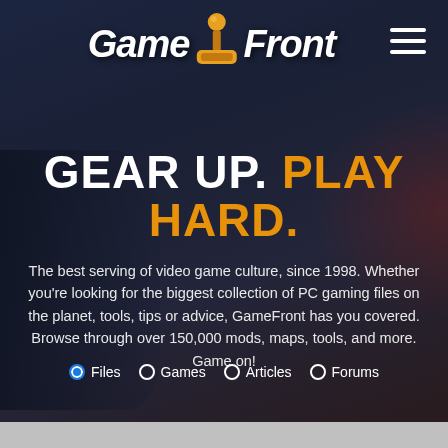[Figure (logo): GameFront logo with joystick icon between 'Game' and 'Front' text in white italic bold font]
GEAR UP. PLAY HARD.
The best serving of video game culture, since 1998. Whether you're looking for the biggest collection of PC gaming files on the planet, tools, tips or advice, GameFront has you covered. Browse through over 150,000 mods, maps, tools, and more. Game on!
[Figure (screenshot): Search bar with placeholder text 'Search Files...' and radio buttons for Files, Games, Articles, Forums]